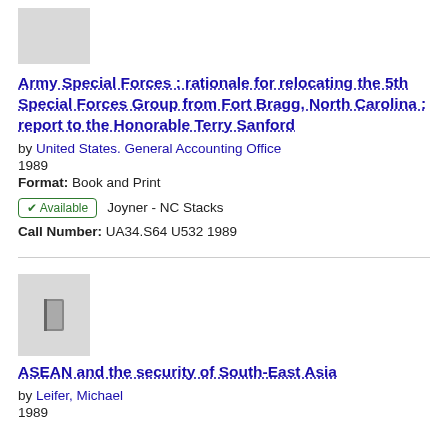[Figure (other): Gray placeholder thumbnail for book 1]
Army Special Forces : rationale for relocating the 5th Special Forces Group from Fort Bragg, North Carolina : report to the Honorable Terry Sanford
by United States. General Accounting Office
1989
Format: Book and Print
✔ Available   Joyner - NC Stacks
Call Number: UA34.S64 U532 1989
[Figure (other): Gray placeholder thumbnail with book icon for book 2]
ASEAN and the security of South-East Asia
by Leifer, Michael
1989